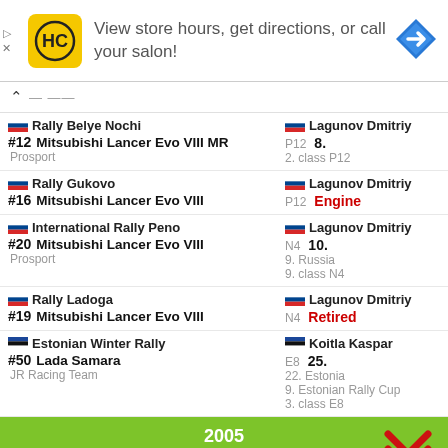[Figure (other): Advertisement banner: HC logo (yellow background), text 'View store hours, get directions, or call your salon!', blue navigation arrow icon]
| Rally Belye Nochi #12 Mitsubishi Lancer Evo VIII MR Prosport | Lagunov Dmitriy P12 8. 2. class P12 |
| Rally Gukovo #16 Mitsubishi Lancer Evo VIII | Lagunov Dmitriy P12 Engine |
| International Rally Peno #20 Mitsubishi Lancer Evo VIII Prosport | Lagunov Dmitriy N4 10. 9. Russia 9. class N4 |
| Rally Ladoga #19 Mitsubishi Lancer Evo VIII | Lagunov Dmitriy N4 Retired |
| Estonian Winter Rally #50 Lada Samara JR Racing Team | Koitla Kaspar E8 25. 22. Estonia 9. Estonian Rally Cup 3. class E8 |
2005
Uno-X Saaremaa Rally — Lagunov Dmitriy